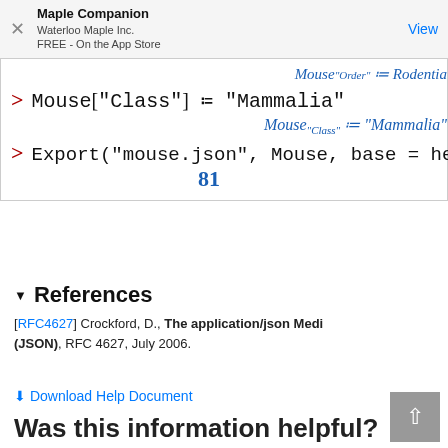Maple Companion
Waterloo Maple Inc.
FREE - On the App Store
View
Mouse["Order"] := Rodentia (partial/cropped)
References
[RFC4627] Crockford, D., The application/json Media Type for JavaScript Object Notation (JSON), RFC 4627, July 2006.
Download Help Document
Was this information helpful?